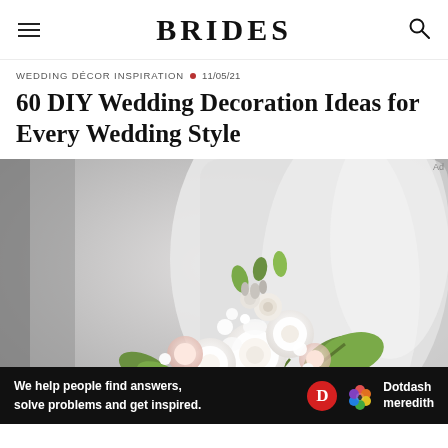BRIDES
WEDDING DÉCOR INSPIRATION • 11/05/21
60 DIY Wedding Decoration Ideas for Every Wedding Style
[Figure (photo): A bride in a white dress holding a white and green floral bouquet with roses and mixed greenery against a light blurred background.]
We help people find answers, solve problems and get inspired. Dotdash meredith